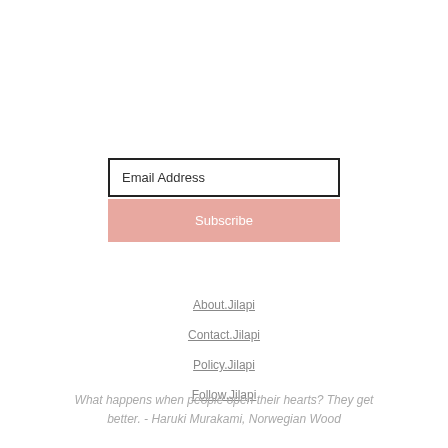[Figure (screenshot): Email input field with placeholder text 'Email Address' and a pink Subscribe button below it]
About.Jilapi
Contact.Jilapi
Policy.Jilapi
Follow.Jilapi
What happens when people open their hearts? They get better. - Haruki Murakami, Norwegian Wood